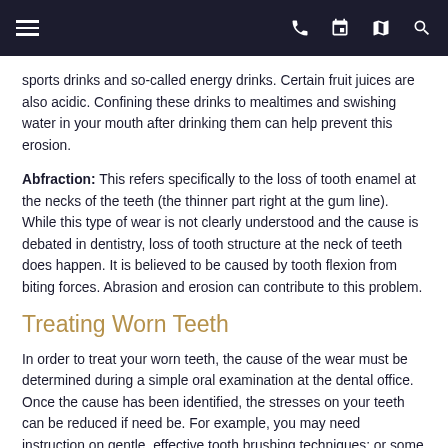Navigation bar with menu, phone, calendar, map, and search icons
sports drinks and so-called energy drinks. Certain fruit juices are also acidic. Confining these drinks to mealtimes and swishing water in your mouth after drinking them can help prevent this erosion.
Abfraction: This refers specifically to the loss of tooth enamel at the necks of the teeth (the thinner part right at the gum line). While this type of wear is not clearly understood and the cause is debated in dentistry, loss of tooth structure at the neck of teeth does happen. It is believed to be caused by tooth flexion from biting forces. Abrasion and erosion can contribute to this problem.
Treating Worn Teeth
In order to treat your worn teeth, the cause of the wear must be determined during a simple oral examination at the dental office. Once the cause has been identified, the stresses on your teeth can be reduced if need be. For example, you may need instruction on gentle, effective tooth brushing techniques; or some changes to your diet. If you have a clenching or grinding habit, a mouthguard can be custom-made for you that will protect your teeth during